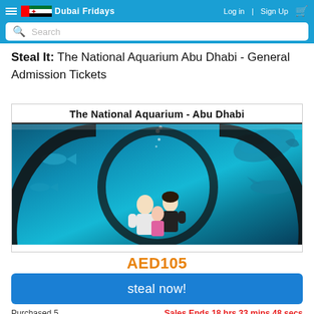Dubai Fridays - Log in | Sign Up [cart]
Steal It: The National Aquarium Abu Dhabi - General Admission Tickets
[Figure (photo): The National Aquarium - Abu Dhabi promotional banner showing a family standing in an underwater tunnel surrounded by sharks and rays in blue-green water]
AED105
steal now!
Purchased 5
Sales Ends 18 hrs 33 mins 48 secs